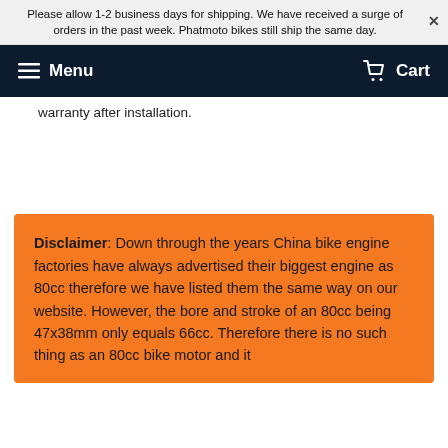Please allow 1-2 business days for shipping. We have received a surge of orders in the past week. Phatmoto bikes still ship the same day.
Menu | Cart
warranty after installation.
Disclaimer: Down through the years China bike engine factories have always advertised their biggest engine as 80cc therefore we have listed them the same way on our website. However, the bore and stroke of an 80cc being 47x38mm only equals 66cc. Therefore there is no such thing as an 80cc bike motor and it